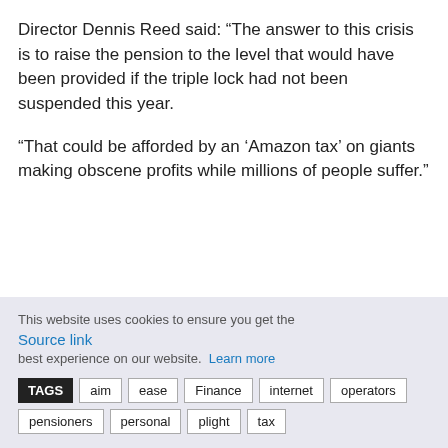Director Dennis Reed said: “The answer to this crisis is to raise the pension to the level that would have been provided if the triple lock had not been suspended this year.
“That could be afforded by an ‘Amazon tax’ on giants making obscene profits while millions of people suffer.”
This website uses cookies to ensure you get the
Source link
best experience on our website. Learn more
TAGS aim ease Finance internet operators pensioners personal plight tax